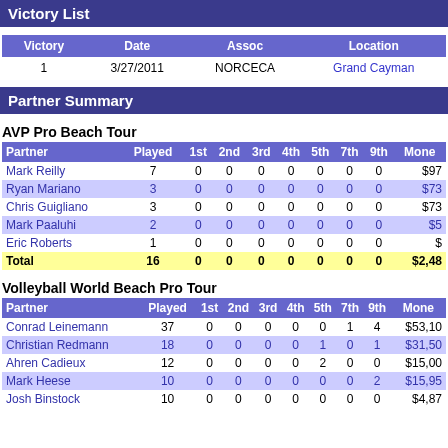Victory List
| Victory | Date | Assoc | Location |
| --- | --- | --- | --- |
| 1 | 3/27/2011 | NORCECA | Grand Cayman |
Partner Summary
AVP Pro Beach Tour
| Partner | Played | 1st | 2nd | 3rd | 4th | 5th | 7th | 9th | Mone |
| --- | --- | --- | --- | --- | --- | --- | --- | --- | --- |
| Mark Reilly | 7 | 0 | 0 | 0 | 0 | 0 | 0 | 0 | $97 |
| Ryan Mariano | 3 | 0 | 0 | 0 | 0 | 0 | 0 | 0 | $73 |
| Chris Guigliano | 3 | 0 | 0 | 0 | 0 | 0 | 0 | 0 | $73 |
| Mark Paaluhi | 2 | 0 | 0 | 0 | 0 | 0 | 0 | 0 | $5 |
| Eric Roberts | 1 | 0 | 0 | 0 | 0 | 0 | 0 | 0 | $ |
| Total | 16 | 0 | 0 | 0 | 0 | 0 | 0 | 0 | $2,48 |
Volleyball World Beach Pro Tour
| Partner | Played | 1st | 2nd | 3rd | 4th | 5th | 7th | 9th | Mone |
| --- | --- | --- | --- | --- | --- | --- | --- | --- | --- |
| Conrad Leinemann | 37 | 0 | 0 | 0 | 0 | 0 | 1 | 4 | $53,10 |
| Christian Redmann | 18 | 0 | 0 | 0 | 0 | 1 | 0 | 1 | $31,50 |
| Ahren Cadieux | 12 | 0 | 0 | 0 | 0 | 2 | 0 | 0 | $15,00 |
| Mark Heese | 10 | 0 | 0 | 0 | 0 | 0 | 0 | 2 | $15,95 |
| Josh Binstock | 10 | 0 | 0 | 0 | 0 | 0 | 0 | 0 | $4,87 |